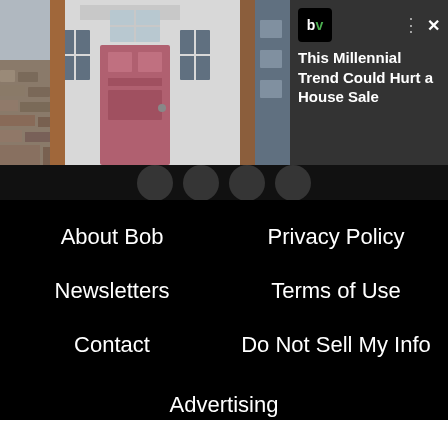[Figure (screenshot): Screenshot of a website showing a house with a pink front door, an advertisement overlay panel from BobVila.com with the text 'This Millennial Trend Could Hurt a House Sale', a green arrow button, scroll indicator dots, and a footer navigation with links: About Bob, Privacy Policy, Newsletters, Terms of Use, Contact, Do Not Sell My Info, Advertising (partially visible)]
This Millennial Trend Could Hurt a House Sale
About Bob
Privacy Policy
Newsletters
Terms of Use
Contact
Do Not Sell My Info
Advertising